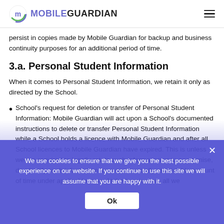MOBILE GUARDIAN
persist in copies made by Mobile Guardian for backup and business continuity purposes for an additional period of time.
3.a. Personal Student Information
When it comes to Personal Student Information, we retain it only as directed by the School.
School's request for deletion or transfer of Personal Student Information: Mobile Guardian will act upon a School's documented instructions to delete or transfer Personal Student Information while a School holds a licence with Mobile Guardian and after all School licences to Mobile Guardian have expired. This is unless we are required to legally retain information or to anonymise, de-identify, or de-identify such information for a commercially reasonable amount of time under applicable laws. At the termination, all we...
We use cookies to ensure that we give you the best possible experience on our website. If you continue to use this site we will assume that you are happy with it.